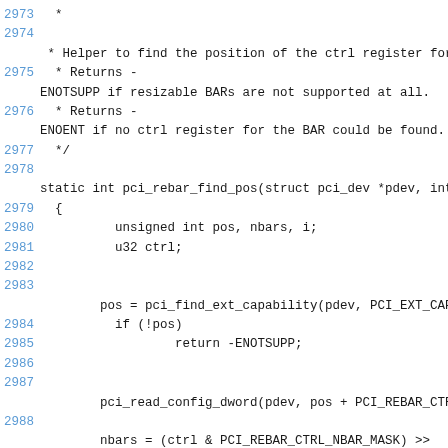Source code listing, lines 2973-2990, showing C kernel code for pci_rebar_find_pos function including comments about return values for -ENOTSUPP and -ENOENT, function signature, variable declarations, and logic using pci_find_ext_capability, pci_read_config_dword, and PCI_REBAR_CTRL_NBAR_MASK operations.